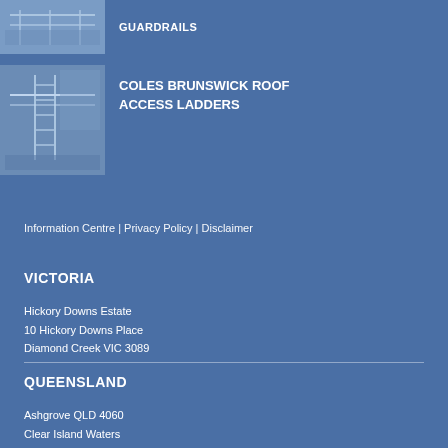[Figure (photo): Guardrails photo thumbnail at top of page]
GUARDRAILS
[Figure (photo): Coles Brunswick Roof Access Ladders photo thumbnail]
COLES BRUNSWICK ROOF ACCESS LADDERS
Information Centre | Privacy Policy | Disclaimer
VICTORIA
Hickory Downs Estate
10 Hickory Downs Place
Diamond Creek VIC 3089
QUEENSLAND
Ashgrove QLD 4060
Clear Island Waters
QLD 4226